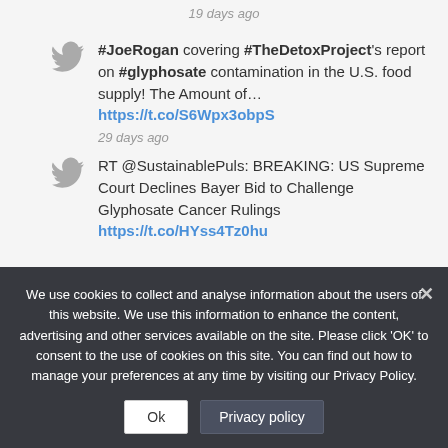19 days ago
#JoeRogan covering #TheDetoxProject's report on #glyphosate contamination in the U.S. food supply! The Amount of… https://t.co/S6Wpx3obpS
29 days ago
RT @SustainablePuls: BREAKING: US Supreme Court Declines Bayer Bid to Challenge Glyphosate Cancer Rulings https://t.co/HYss4Tz0hu
We use cookies to collect and analyse information about the users of this website. We use this information to enhance the content, advertising and other services available on the site. Please click 'OK' to consent to the use of cookies on this site. You can find out how to manage your preferences at any time by visiting our Privacy Policy.